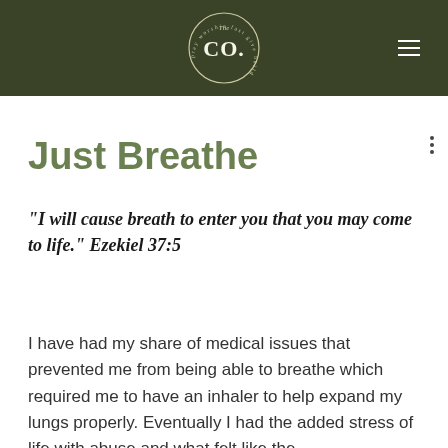[Figure (logo): The CO. circular logo with text 'pray worship fast give build' around it on a dark olive green header bar]
Just Breathe
“I will cause breath to enter you that you may come to life.” Ezekiel 37:5
I have had my share of medical issues that prevented me from being able to breathe which required me to have an inhaler to help expand my lungs properly. Eventually I had the added stress of life with abuse and what felt like the